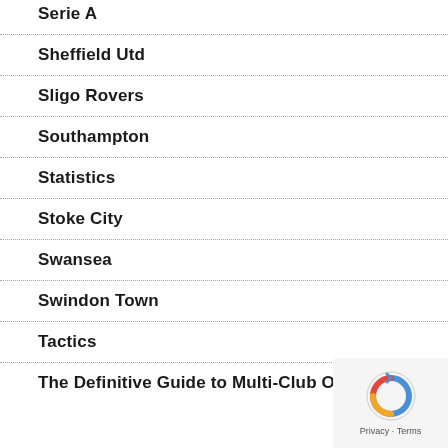Serie A
Sheffield Utd
Sligo Rovers
Southampton
Statistics
Stoke City
Swansea
Swindon Town
Tactics
The Definitive Guide to Multi-Club Ownership